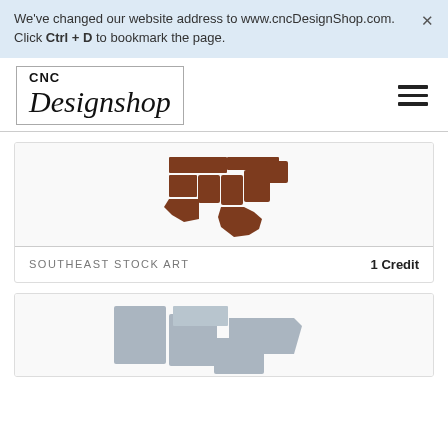We've changed our website address to www.cncDesignShop.com. Click Ctrl + D to bookmark the page.
[Figure (logo): CNC Designshop logo with border box]
[Figure (illustration): Brown southeastern US states stock art map illustration]
SOUTHEAST STOCK ART
1 Credit
[Figure (illustration): Gray southwestern/central US states stock art map illustration (partial view)]